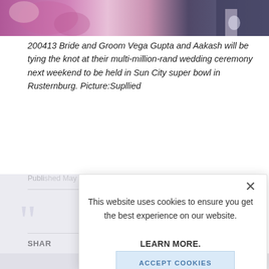[Figure (photo): Photo strip at top showing bride and groom, colorful wedding attire]
200413 Bride and Groom Vega Gupta and Aakash will be tying the knot at their multi-million-rand wedding ceremony next weekend to be held in Sun City super bowl in Rusternburg. Picture:Supllied
Published May 1, 2013
SHARE
This website uses cookies to ensure you get the best experience on our website.

LEARN MORE.

ACCEPT COOKIES